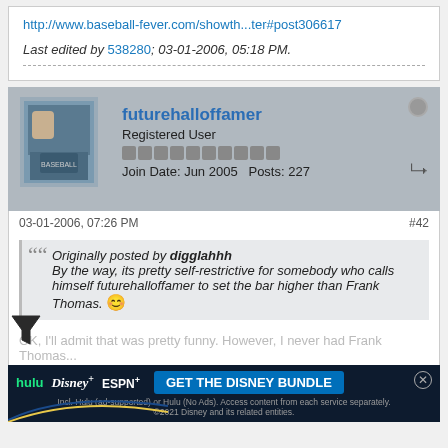http://www.baseball-fever.com/showth...ter#post306617
Last edited by 538280; 03-01-2006, 05:18 PM.
futurehalloffamer
Registered User
Join Date: Jun 2005  Posts: 227
03-01-2006, 07:26 PM
#42
Originally posted by digglahhh
By the way, its pretty self-restrictive for somebody who calls himself futurehalloffamer to set the bar higher than Frank Thomas. 😊
OK, I'll admit that was pretty funny. However, I never had Frank Thomas...
[Figure (screenshot): Advertisement banner for Disney Bundle: hulu, Disney+, ESPN+. Text: GET THE DISNEY BUNDLE. Fine print: Incl. Hulu (ad-supported) or Hulu (No Ads). Access content from each service separately. ©2021 Disney and its related entities.]